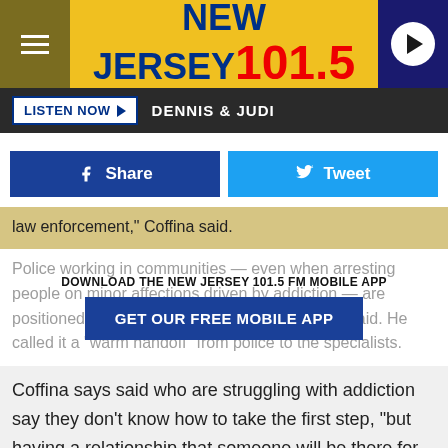[Figure (logo): New Jersey 101.5 FM radio station logo in yellow banner with hamburger menu and play button]
LISTEN NOW ▶  DENNIS & JUDI
[Figure (infographic): Facebook Share and Twitter Tweet social sharing buttons]
law enforcement," Coffina said.
DOWNLOAD THE NEW JERSEY 101.5 FM MOBILE APP
Police working in communities — even when arresting people on minor affections driven by addiction — are positioned to make those introductions, Coffina said. He called it a "warm handoff" from police to the specialists.
[Figure (infographic): GET OUR FREE MOBILE APP button overlay]
Coffina says said who are struggling with addiction say they don't know how to take the first step, "but having a relationship that someone will be there for someone" and the rec
[Figure (infographic): Back To School Essentials - Leesburg Premium Outlets advertisement banner]